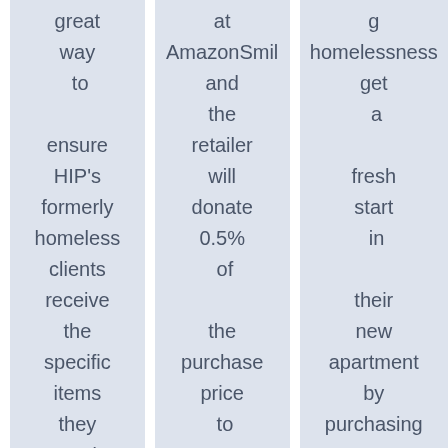great way to ensure HIP's formerly homeless clients receive the specific items they need, whether
at AmazonSmile and the retailer will donate 0.5% of the purchase price to HIP.
[Figure (logo): Amazon Smile logo]
homelessness get a fresh start in their new apartment by purchasing a few basic housewares